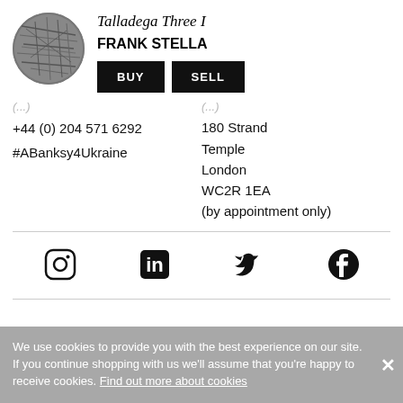[Figure (photo): Circular thumbnail of artwork - Talladega Three I by Frank Stella, grayscale textured image]
Talladega Three I
FRANK STELLA
BUY | SELL
+44 (0) 204 571 6292
#ABanksy4Ukraine
180 Strand
Temple
London
WC2R 1EA
(by appointment only)
[Figure (logo): Instagram icon]
[Figure (logo): LinkedIn icon]
[Figure (logo): Twitter icon]
[Figure (logo): Facebook icon]
We use cookies to provide you with the best experience on our site. If you continue shopping with us we'll assume that you're happy to receive cookies. Find out more about cookies